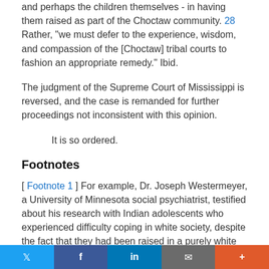and perhaps the children themselves - in having them raised as part of the Choctaw community. 28 Rather, "we must defer to the experience, wisdom, and compassion of the [Choctaw] tribal courts to fashion an appropriate remedy." Ibid.
The judgment of the Supreme Court of Mississippi is reversed, and the case is remanded for further proceedings not inconsistent with this opinion.
It is so ordered.
Footnotes
[ Footnote 1 ] For example, Dr. Joseph Westermeyer, a University of Minnesota social psychiatrist, testified about his research with Indian adolescents who experienced difficulty coping in white society, despite the fact that they had been raised in a purely white environment. "[T]he y were